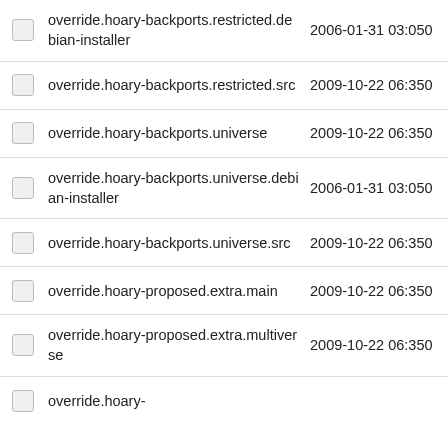override.hoary-backports.restricted.debian-installer  2006-01-31 03:050
override.hoary-backports.restricted.src  2009-10-22 06:350
override.hoary-backports.universe  2009-10-22 06:350
override.hoary-backports.universe.debian-installer  2006-01-31 03:050
override.hoary-backports.universe.src  2009-10-22 06:350
override.hoary-proposed.extra.main  2009-10-22 06:350
override.hoary-proposed.extra.multiverse  2009-10-22 06:350
override.hoary-